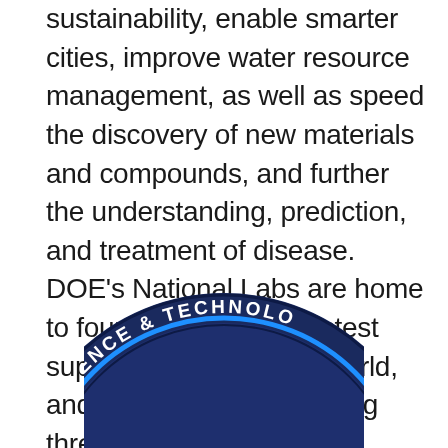sustainability, enable smarter cities, improve water resource management, as well as speed the discovery of new materials and compounds, and further the understanding, prediction, and treatment of disease. DOE's National Labs are home to four of the top ten fastest supercomputers in the world, and we're currently building three next-generation, exascale machines, which will be even faster and more AI-capable computers.
[Figure (logo): Circular badge/seal partially visible at the bottom of the page, dark navy blue background with white text reading 'INTELLIGENCE & TECHNOLOGY' curved along the top arc, with a bright blue inner ring/arc accent.]